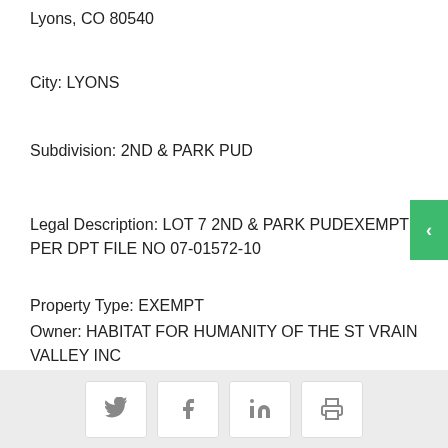Lyons, CO 80540
City: LYONS
Subdivision: 2ND & PARK PUD
Legal Description: LOT 7 2ND & PARK PUDEXEMPT PER DPT FILE NO 07-01572-10
Property Type: EXEMPT
Owner: HABITAT FOR HUMANITY OF THE ST VRAIN VALLEY INC
Public data is sourced from various Boulder
Social share and print icons